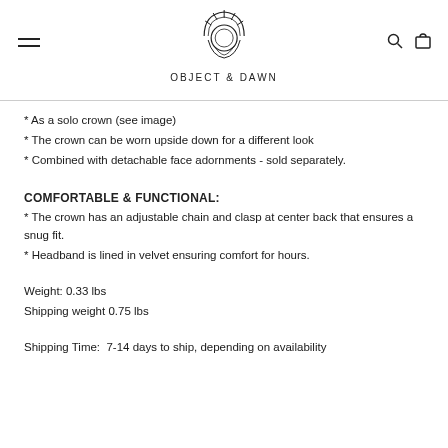OBJECT & DAWN
* As a solo crown (see image)
* The crown can be worn upside down for a different look
* Combined with detachable face adornments - sold separately.
COMFORTABLE & FUNCTIONAL:
* The crown has an adjustable chain and clasp at center back that ensures a snug fit.
* Headband is lined in velvet ensuring comfort for hours.
Weight: 0.33 lbs
Shipping weight 0.75 lbs
Shipping Time:  7-14 days to ship, depending on availability